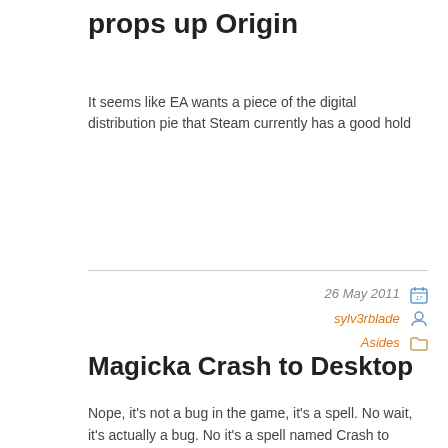props up Origin
It seems like EA wants a piece of the digital distribution pie that Steam currently has a good hold
26 May 2011  sylv3rblade  Asides
Magicka Crash to Desktop
Nope, it's not a bug in the game, it's a spell. No wait, it's actually a bug. No it's a spell named Crash to Desktop in Magicka. No it's actually a
[Figure (illustration): Red palm tree illustration at bottom of page]